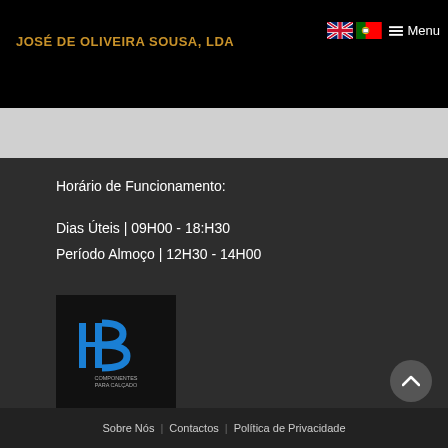JOSÉ DE OLIVEIRA SOUSA, LDA
[Figure (logo): UK and Portugal flag icons with Menu hamburger icon]
[Figure (logo): IB Componentes Para Calçado logo — blue stylized IB letters on black background]
Horário de Funcionamento:
Dias Úteis | 09H00 - 18:H30
Período Almoço | 12H30 - 14H00
Sobre Nós | Contactos | Política de Privacidade